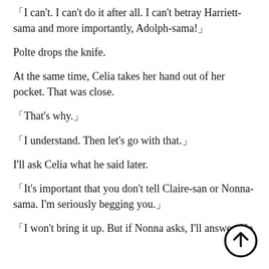「I can't. I can't do it after all. I can't betray Harriett-sama and more importantly, Adolph-sama!」
Polte drops the knife.
At the same time, Celia takes her hand out of her pocket. That was close.
「That’s why.」
「I understand. Then let’s go with that.」
I’ll ask Celia what he said later.
「It’s important that you don’t tell Claire-san or Nonna-sama. I’m seriously begging you.」
「I won’t bring it up. But if Nonna asks, I’ll answer. No